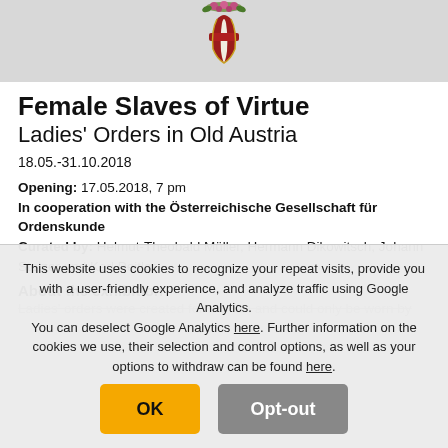[Figure (photo): Decorative ornament or medal with floral and red enamel design on grey background]
Female Slaves of Virtue
Ladies' Orders in Old Austria
18.05.-31.10.2018
Opening: 17.05.2018, 7 pm
In cooperation with the Österreichische Gesellschaft für Ordenskunde
Curated by: Helmut-Theobald Müller, Hermann Dikowitsch, Johann Stolzer und Karl Peitler
About the exhibition
Ladies' orders were created for women and could only be worn by
This website uses cookies to recognize your repeat visits, provide you with a user-friendly experience, and analyze traffic using Google Analytics.
You can deselect Google Analytics here. Further information on the cookies we use, their selection and control options, as well as your options to withdraw can be found here.